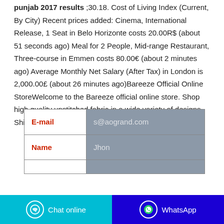punjab 2017 results ;30.18. Cost of Living Index (Current, By City) Recent prices added: Cinema, International Release, 1 Seat in Belo Horizonte costs 20.00R$ (about 51 seconds ago) Meal for 2 People, Mid-range Restaurant, Three-course in Emmen costs 80.00€ (about 2 minutes ago) Average Monthly Net Salary (After Tax) in London is 2,000.00£ (about 26 minutes ago)Bareeze Official Online StoreWelcome to the Bareeze official online store. Shop high quality unstitched fabric in a wide variety of designs. Shipping all over world.
| E-mail | s@aogrand.com |
| --- | --- |
| Name | Jhon |
|  |  |
Chat online   WhatsApp